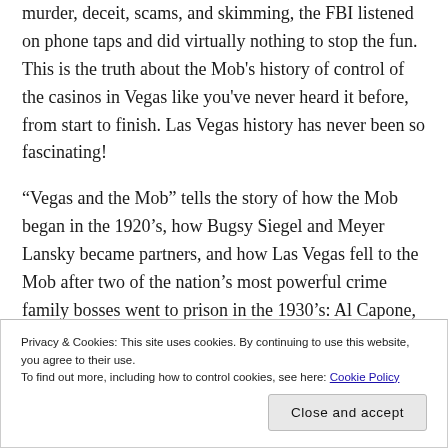murder, deceit, scams, and skimming, the FBI listened on phone taps and did virtually nothing to stop the fun. This is the truth about the Mob's history of control of the casinos in Vegas like you've never heard it before, from start to finish. Las Vegas history has never been so fascinating!
“Vegas and the Mob” tells the story of how the Mob began in the 1920’s, how Bugsy Siegel and Meyer Lansky became partners, and how Las Vegas fell to the Mob after two of the nation’s most powerful crime family bosses went to prison in the 1930’s: Al Capone, and Lucky Luciano.
Privacy & Cookies: This site uses cookies. By continuing to use this website, you agree to their use. To find out more, including how to control cookies, see here: Cookie Policy
Close and accept